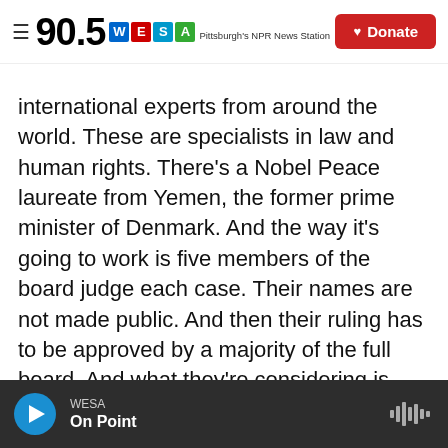90.5 WESA Pittsburgh's NPR News Station | Donate
international experts from around the world. These are specialists in law and human rights. There's a Nobel Peace laureate from Yemen, the former prime minister of Denmark. And the way it's going to work is five members of the board judge each case. Their names are not made public. And then their ruling has to be approved by a majority of the full board. And what they're considering is Facebook's own rules but also international human rights principles. They consult outside experts, and they solicit comments from the public. They got more than 9,000 public comments in Trump's case.
WESA | On Point